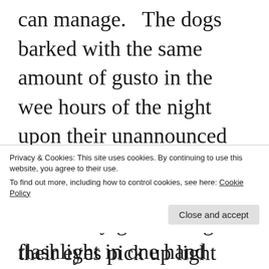can manage.   The dogs barked with the same amount of gusto in the wee hours of the night upon their unannounced arrival, but I never felt obligated to go chasing horses at night – beings as their eyes pick up light much better in darker conditions than we humans can.  The odds were certainly with them escaning
Privacy & Cookies: This site uses cookies. By continuing to use this website, you agree to their use.
To find out more, including how to control cookies, see here: Cookie Policy
understory with a flashlight in one hand